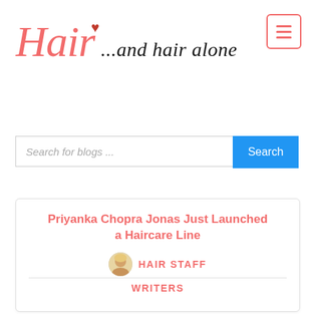[Figure (logo): Hair ...and hair alone logo with stylized cursive text and red heart]
[Figure (other): Hamburger menu button with three horizontal lines, salmon/pink border]
Search for blogs ...
Priyanka Chopra Jonas Just Launched a Haircare Line
HAIR STAFF WRITERS